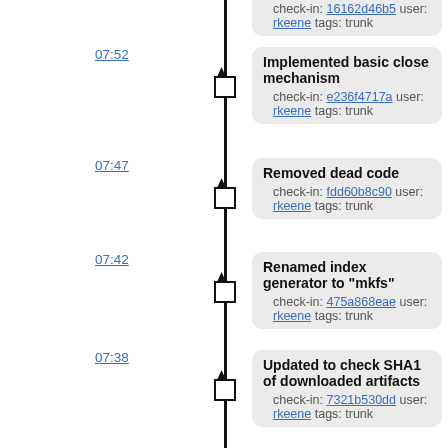check-in: 16162d46b5 user: rkeene tags: trunk
07:52 — Implemented basic close mechanism
check-in: e236f4717a user: rkeene tags: trunk
07:47 — Removed dead code
check-in: fdd60b8c90 user: rkeene tags: trunk
07:42 — Renamed index generator to "mkfs"
check-in: 475a868eae user: rkeene tags: trunk
07:38 — Updated to check SHA1 of downloaded artifacts
check-in: 7321b530dd user: rkeene tags: trunk
07:33 — Removed extraneous reference to stringify
check-in: ce18c8a9b9 user: rkeene tags: trunk
07:29 — Updated to string-ify Tcl script using "sed"
check-in: f3c0a33c84 user: rkeene tags: trunk
07:24 — Finished renames
check-in: 6958ab0b94 user: rkeene tags: trunk